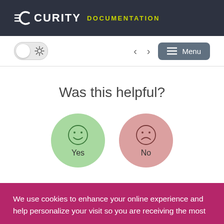CURITY DOCUMENTATION
[Figure (screenshot): Toggle switch with sun icon, navigation arrows, and Menu button in toolbar]
Was this helpful?
[Figure (infographic): Two circular feedback buttons: green 'Yes' with happy face and pink 'No' with sad face]
We use cookies to enhance your online experience and help personalize your visit so you are receiving the most